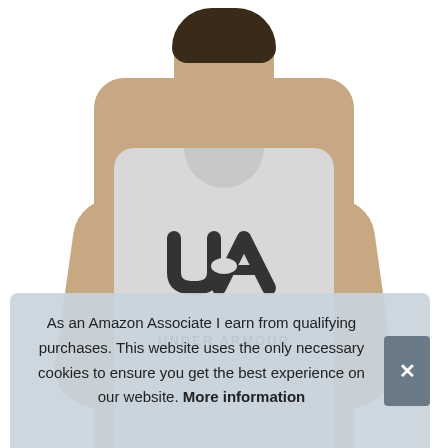[Figure (photo): Male model wearing a gray Under Armour tank top with the Under Armour logo on the chest, photographed from waist up against a white background.]
As an Amazon Associate I earn from qualifying purchases. This website uses the only necessary cookies to ensure you get the best experience on our website. More information